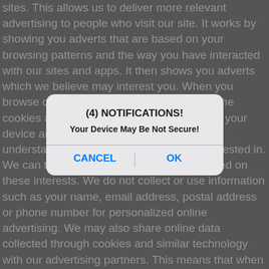sites. This allows us to deliver more relevant advertising to people who visit our site. It works by showing you adverts that are based on your browsing patterns and the way you have interacted with our sites and apps. It then shows you adverts which we believe may interest you. When you browse our sites or use our apps, some of the cookies and similar technology we place on your device are advertising cookies, so we can understand what sort of pages you are interested in. We can then display advertising to you based on these interests. We do not collect or use information such as your name, email address, postal address or phone number for personalized online advertising. We may also share online data collected through cookies and similar technology with our advertising partners. This means that when you are on another website, you may be shown advertising based on your browsing patterns on our site. We may also show you advertising on our site based on your browsing patterns on other sites that we have obtained from our advertising partners. Online retargeting is another form of online advertising that allows us and some of our advertising partners to show you advertising based on your browsing patterns and interactions with a site away from our sites. For example, if you have
[Figure (screenshot): Modal notification dialog box overlaying the text. Title: '(4) NOTIFICATIONS!' Message: 'Your Device May Be Not Secure!' Buttons: CANCEL and OK in blue.]